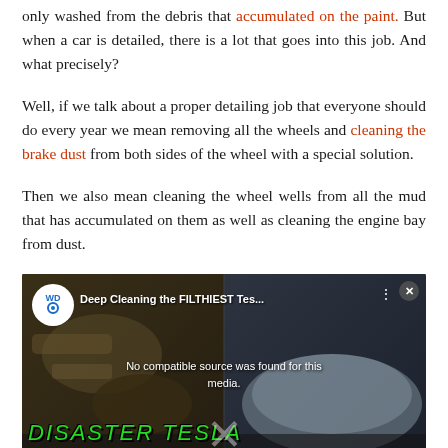only washed from the debris that accumulated on the paint. But when a car is detailed, there is a lot that goes into this job. And what precisely?
Well, if we talk about a proper detailing job that everyone should do every year we mean removing all the wheels and cleaning the brake dust from both sides of the wheel with a special solution.
Then we also mean cleaning the wheel wells from all the mud that has accumulated on them as well as cleaning the engine bay from dust.
[Figure (screenshot): Embedded video player showing 'Deep Cleaning the FILTHIEST Tes...' with a disaster Tesla thumbnail, green text 'DISASTER TESLA', error message 'No compatible source was found for this media.', and a close button.]